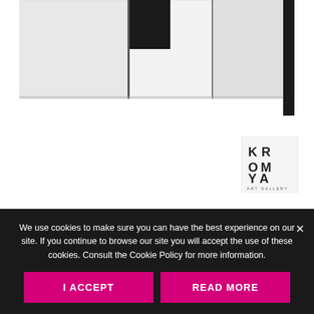[Figure (photo): Partial view of artwork by Giovanni Campus showing white/light gray rectangular panels with black accents on a white background, cropped at top]
[Figure (logo): Kromya Art Gallery logo: letters KR / OM / YA stacked with 'ART GALLERY' text below, black on white square]
€ 29.00
Giovanni Campus – Time in process. Connection measures reports – Work path 1963–2021
We use cookies to make sure you can have the best experience on our site. If you continue to browse our site you will accept the use of these cookies. Consult the Cookie Policy for more information.
I ACCEPT
READ MORE